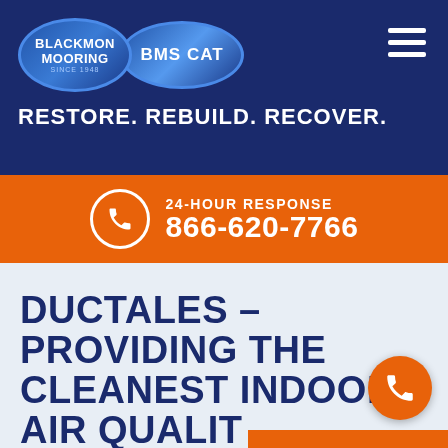BLACKMON MOORING | BMS CAT — RESTORE. REBUILD. RECOVER.
24-HOUR RESPONSE 866-620-7766
DUCTALES – PROVIDING THE CLEANEST INDOOR AIR QUALITY
Home / Air Duct Cleaning / DucTales – Providing the cleanest indoor air quality